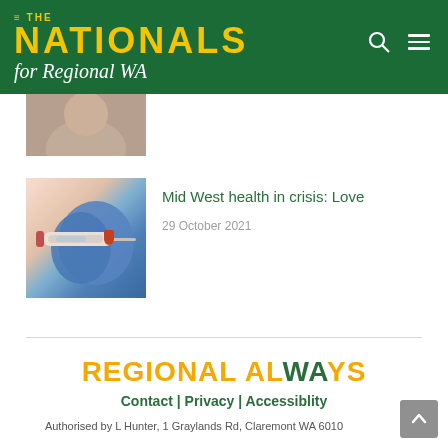THE NATIONALS for Regional WA
[Figure (photo): Partially visible thumbnail image of a person, cropped at the top]
[Figure (photo): Photo of a syringe/vaccine injection being administered with blue medical gloves]
Mid West health in crisis: Love
29 October 2021
REGIONAL ALWAYS
Contact | Privacy | Accessiblity
Authorised by L Hunter, 1 Graylands Rd, Claremont WA 6010